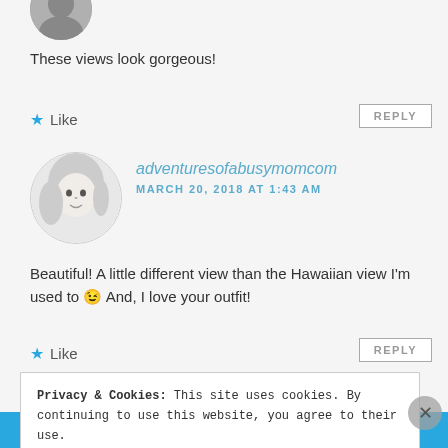[Figure (photo): Partial view of a circular avatar photo at top, cropped at top edge]
These views look gorgeous!
★ Like
REPLY
[Figure (photo): Circular black and white avatar photo of a blonde woman]
adventuresofabusymomcom
MARCH 20, 2018 AT 1:43 AM
Beautiful! A little different view than the Hawaiian view I'm used to 😉 And, I love your outfit!
★ Like
REPLY
Privacy & Cookies: This site uses cookies. By continuing to use this website, you agree to their use.
To find out more, including how to control cookies, see here: Cookie Policy
Close and accept